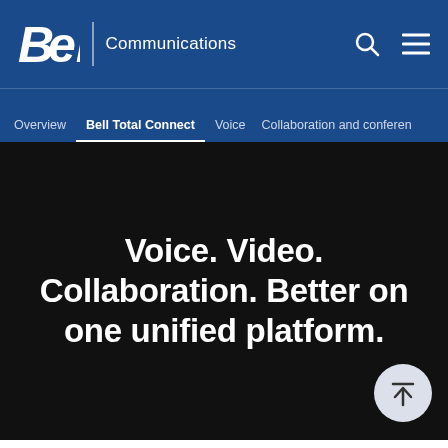Bell Communications
Overview | Bell Total Connect | Voice | Collaboration and conferencing
Voice. Video. Collaboration. Better on one unified platform.